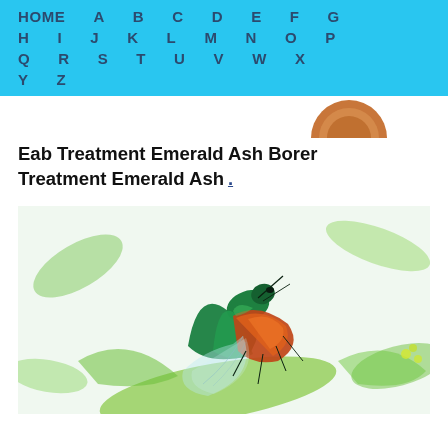HOME A B C D E F G H I J K L M N O P Q R S T U V W X Y Z
Eab Treatment Emerald Ash Borer Treatment Emerald Ash .
[Figure (photo): Close-up photo of an emerald ash borer beetle perched on green leaves. The beetle has a distinctive metallic green body with red/orange underwings spread open, and transparent flying wings extended.]